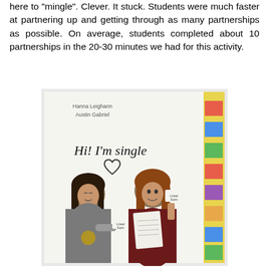here to "mingle". Clever. It stuck. Students were much faster at partnering up and getting through as many partnerships as possible. On average, students completed about 10 partnerships in the 20-30 minutes we had for this activity.
[Figure (photo): Two female students standing in front of a whiteboard that reads 'Hi! I'm single' with a heart drawn below. The whiteboard also has names written on it. One student holds a small card near her face; the other holds a paper and a small card. Colorful bulletin board visible on the right.]